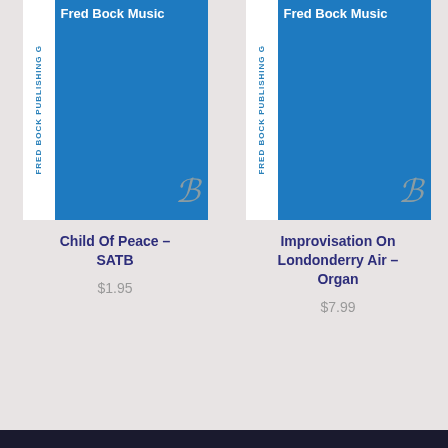[Figure (other): Book cover for 'Child Of Peace – SATB' by Fred Bock Music / Fred Bock Publishing Group. Blue cover with white spine text and a decorative B logo in the lower right.]
Child Of Peace – SATB
$1.95
[Figure (other): Book cover for 'Improvisation On Londonderry Air – Organ' by Fred Bock Music / Fred Bock Publishing Group. Blue cover with white spine text and a decorative B logo in the lower right.]
Improvisation On Londonderry Air – Organ
$7.99